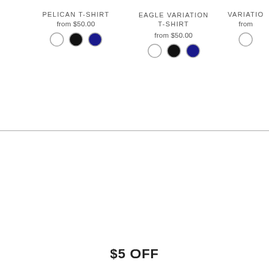PELICAN T-SHIRT
from $50.00
[Figure (illustration): Three color swatches: white circle, black filled circle, dark blue filled circle]
EAGLE VARIATION T-SHIRT
from $50.00
[Figure (illustration): Three color swatches: white circle, black filled circle, dark blue filled circle]
VARIATIO
from
[Figure (illustration): One white circle swatch (partially visible)]
$5 OFF